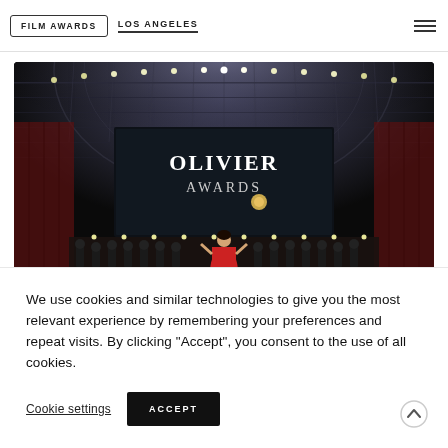FILM AWARDS | LOS ANGELES
[Figure (photo): Stage photo of the Olivier Awards ceremony showing a performer in a red dress on stage with 'OLIVIER AWARDS' displayed on a large screen backdrop, with orchestra and stage lighting visible]
Laurence Olivier Awards
We use cookies and similar technologies to give you the most relevant experience by remembering your preferences and repeat visits. By clicking “Accept”, you consent to the use of all cookies.
Cookie settings | ACCEPT